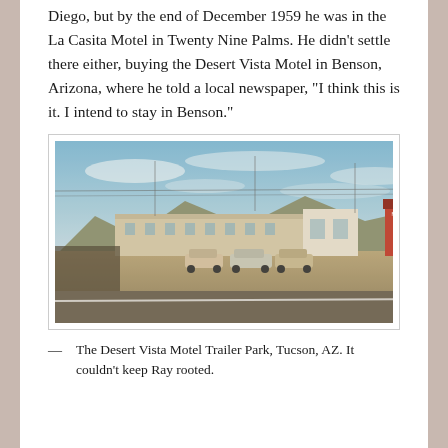Diego, but by the end of December 1959 he was in the La Casita Motel in Twenty Nine Palms. He didn't settle there either, buying the Desert Vista Motel in Benson, Arizona, where he told a local newspaper, “I think this is it. I intend to stay in Benson.”
[Figure (photo): Vintage color photograph of the Desert Vista Motel Trailer Park in Tucson, AZ. Shows a low motel building with mountains in the background, several 1950s-era cars parked in a dirt lot, and a sign visible on the right side. Blue sky with light clouds above.]
— The Desert Vista Motel Trailer Park, Tucson, AZ. It couldn’t keep Ray rooted.